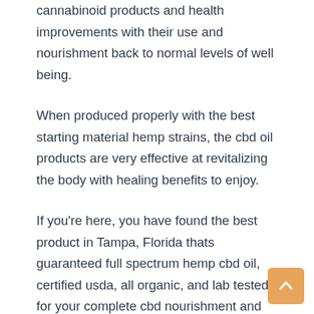cannabinoid products and health improvements with their use and nourishment back to normal levels of well being.
When produced properly with the best starting material hemp strains, the cbd oil products are very effective at revitalizing the body with healing benefits to enjoy.
If you're here, you have found the best product in Tampa, Florida thats guaranteed full spectrum hemp cbd oil, certified usda, all organic, and lab tested for your complete cbd nourishment and satisfaction.
Tampa Hemp Care's Sunshine CBD is the latest cbd oil product line extremely effective, clean, and reliably consistent without any "high" effects like medical marijuana. Consumers can find Sunshine CBD in Stores in